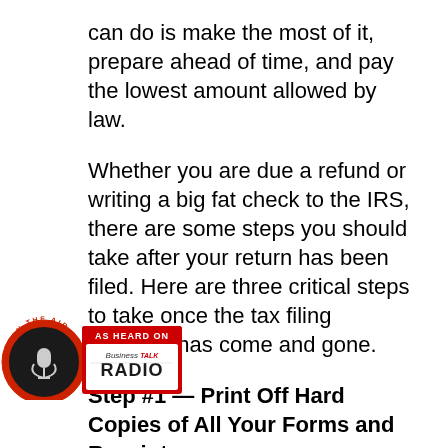can do is make the most of it, prepare ahead of time, and pay the lowest amount allowed by law.
Whether you are due a refund or writing a big fat check to the IRS, there are some steps you should take after your return has been filed. Here are three critical steps to take once the tax filing deadline has come and gone.
Step #1 — Print Off Hard Copies of All Your Forms and Receipts
Even if you save all of your documents on the computer and in the cloud, it is a good idea to print off hard copies and store them in a safe [place. Fro]m the 1099 forms detailing your [interes]t and dividend payments to the receipts that back up your charitable donations and
[Figure (logo): Business Talk Radio logo badge with 'AS HEARD ON' text at top on red background, microphone image on left, Business Talk Radio text on right]